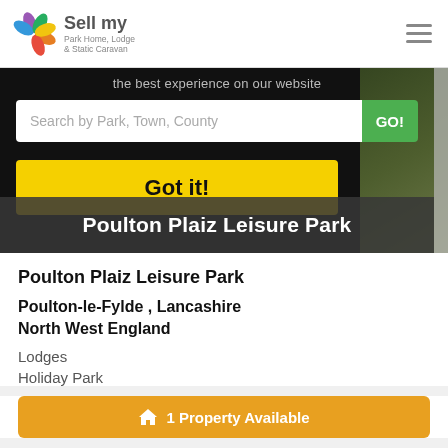[Figure (logo): Sell my Park Home, Lodge & Static Caravan logo with flower graphic]
the best experience on our website
Search by Park, Town, County
Got it!
Poulton Plaiz Leisure Park
Poulton Plaiz Leisure Park
Poulton-le-Fylde , Lancashire
North West England
Lodges
Holiday Park
1 Property Available